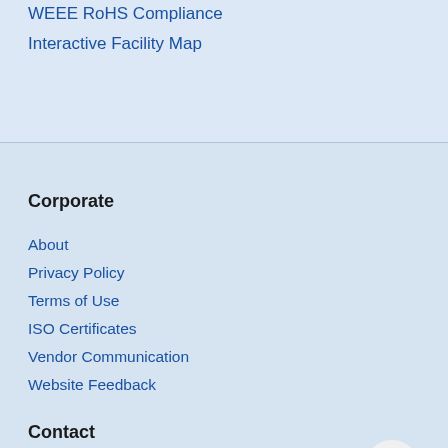WEEE RoHS Compliance
Interactive Facility Map
Corporate
About
Privacy Policy
Terms of Use
ISO Certificates
Vendor Communication
Website Feedback
Contact
Brady Company India Pvt. Ltd.